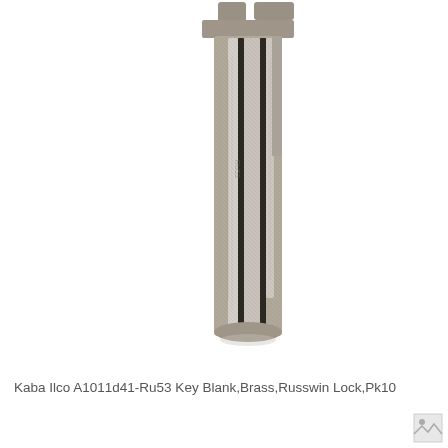[Figure (photo): Close-up photograph of a metal key blank (Kaba Ilco A1011d41-Ru53), showing the blade of the key with grooves and ridges on a white background. The key is oriented vertically with the tip at the bottom.]
Kaba Ilco A1011d41-Ru53 Key Blank,Brass,Russwin Lock,Pk10